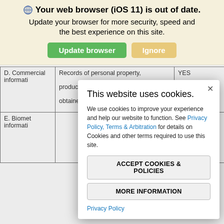Your web browser (iOS 11) is out of date.
Update your browser for more security, speed and the best experience on this site.
[Figure (screenshot): Browser update banner with Update browser (green button) and Ignore (tan button)]
|  |  |  |
| --- | --- | --- |
| D. Commercial informati... | Records of personal property, products or services purchased, obtained, or considered, or other... | YES |
| E. Biomet... informati... |  |  |
[Figure (screenshot): Cookie consent modal dialog with title 'This website uses cookies', body text, Accept Cookies & Policies button, More Information button, and Privacy Policy link]
This website uses cookies.
We use cookies to improve your experience and help our website to function. See Privacy Policy, Terms & Arbitration for details on Cookies and other terms required to use this site.
ACCEPT COOKIES & POLICIES
MORE INFORMATION
Privacy Policy